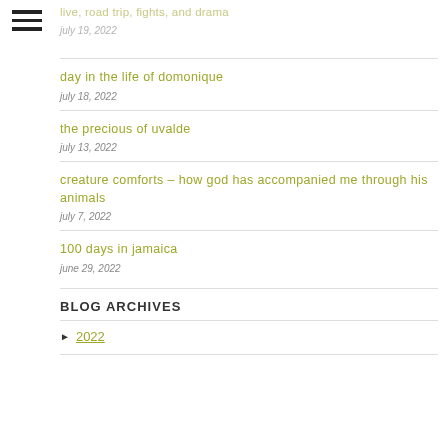live, road trip, fights, and drama — july 19, 2022
day in the life of domonique
july 18, 2022
the precious of uvalde
july 13, 2022
creature comforts – how god has accompanied me through his animals
july 7, 2022
100 days in jamaica
june 29, 2022
BLOG ARCHIVES
2022